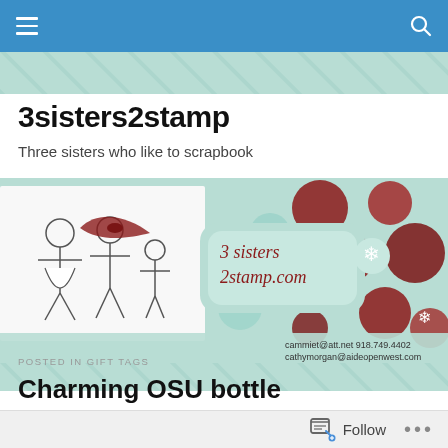Navigation bar with hamburger menu and search icon
3sisters2stamp
Three sisters who like to scrapbook
[Figure (illustration): 3sisters2stamp.com website banner with holiday theme — mint green and dark red polka dot background, cartoon stick figures of three girls on left, decorative label in center reading '3 sisters 2stamp.com', with contact info: cammiet@att.net, 918.749.4402, cathymorgan@aideopenwest.com]
POSTED IN GIFT TAGS
Charming OSU bottle
Follow